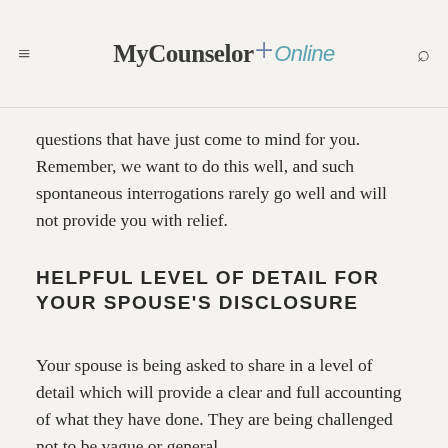MyCounselor Online
questions that have just come to mind for you. Remember, we want to do this well, and such spontaneous interrogations rarely go well and will not provide you with relief.
HELPFUL LEVEL OF DETAIL FOR YOUR SPOUSE'S DISCLOSURE
Your spouse is being asked to share in a level of detail which will provide a clear and full accounting of what they have done. They are being challenged not to be vague or general.
Such responses are avoiding the seriousness of what has occurred. However, they are also being